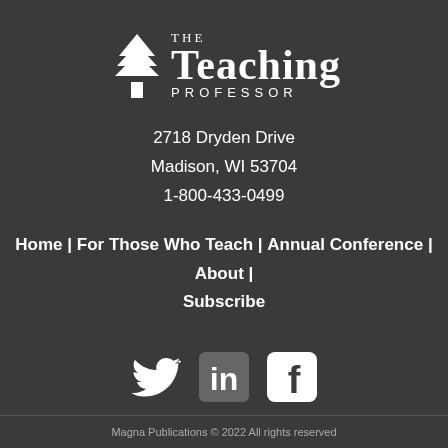[Figure (logo): The Teaching Professor logo with tree icon and text]
2718 Dryden Drive
Madison, WI 53704
1-800-433-0499
Home | For Those Who Teach | Annual Conference | About | Subscribe
[Figure (illustration): Social media icons: Twitter bird, LinkedIn 'in' badge, Facebook 'f' badge]
Magna Publications © 2022 All rights reserved